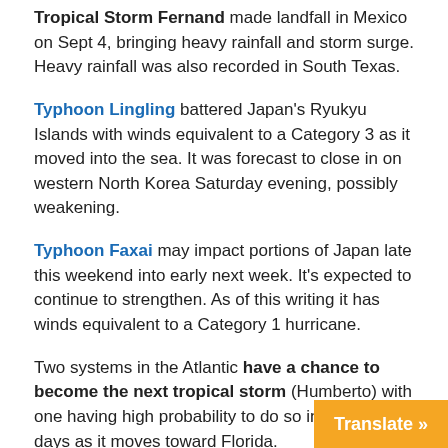Tropical Storm Fernand made landfall in Mexico on Sept 4, bringing heavy rainfall and storm surge. Heavy rainfall was also recorded in South Texas.
Typhoon Lingling battered Japan's Ryukyu Islands with winds equivalent to a Category 3 as it moved into the sea. It was forecast to close in on western North Korea Saturday evening, possibly weakening.
Typhoon Faxai may impact portions of Japan late this weekend into early next week. It's expected to continue to strengthen. As of this writing it has winds equivalent to a Category 1 hurricane.
Two systems in the Atlantic have a chance to become the next tropical storm (Humberto) with one having high probability to do so in the next 5 days as it moves toward Florida.
Tropical Storm Gabrielle weakened to a tropical rainstorm but may regenerate into a tropical depression...